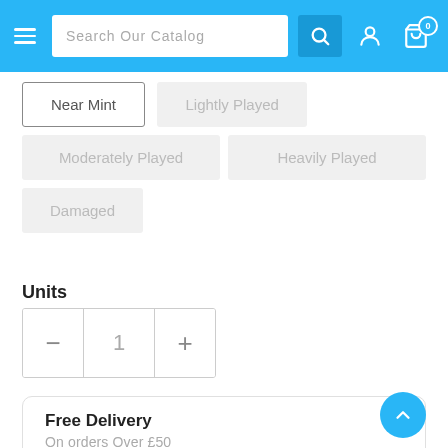Search Our Catalog
Near Mint
Lightly Played
Moderately Played
Heavily Played
Damaged
Units
1
Free Delivery
On orders Over £50
Customer Support